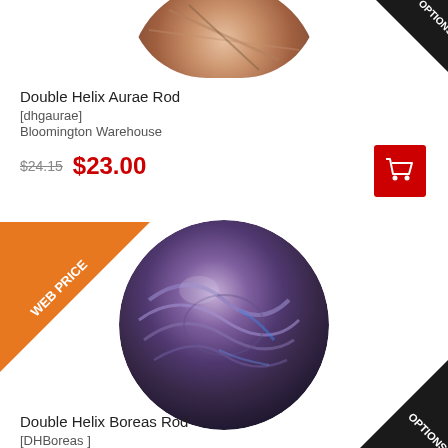[Figure (photo): Partial circular product image of Double Helix Aurae Rod glass, cropped at top of page]
[Figure (other): Black corner badge with white text reading OPTIONS, top right]
Double Helix Aurae Rod
[dhgaurae]
Bloomington Warehouse
$24.15 $23.00
[Figure (other): Red add to cart button with shopping cart icon]
[Figure (other): Orange diagonal banner badge with white text reading WEB PRICE]
[Figure (photo): Circular product photo of Double Helix Boreas Rod, a dark iridescent glass bead with purple and blue swirls]
[Figure (other): Black corner badge with white text reading OPTIONS, bottom right]
Double Helix Boreas Rod
[DHBoreas ]